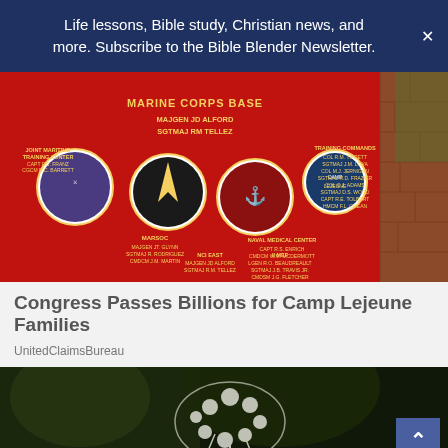Life lessons, Bible study, Christian news, and more. Subscribe to the Bible Blender Newsletter.
[Figure (photo): Red Marine Corps Base sign with unit seals and personnel names listed, including MARINE CORPS BASE MAJGEN JD ALFORD SGTMAJ RM TELLEZ, with brick pillar and trees in background.]
Congress Passes Billions for Camp Lejeune Families
UnitedClaimsBureau
[Figure (photo): Photo of a white flowering plant or sculpture against dark tree foliage background.]